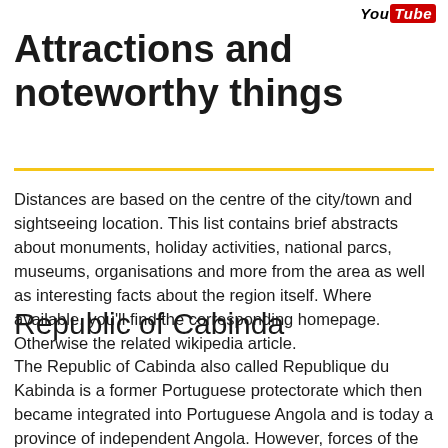[Figure (logo): YouTube logo with 'You' in italic black and 'Tube' in white on red rounded rectangle]
Attractions and noteworthy things
Distances are based on the centre of the city/town and sightseeing location. This list contains brief abstracts about monuments, holiday activities, national parcs, museums, organisations and more from the area as well as interesting facts about the region itself. Where available, you'll find the corresponding homepage. Otherwise the related wikipedia article.
Republic of Cabinda
The Republic of Cabinda also called Republique du Kabinda is a former Portuguese protectorate which then became integrated into Portuguese Angola and is today a province of independent Angola. However, forces of the